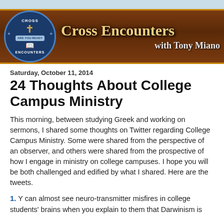[Figure (logo): Cross Encounters with Tony Miano banner header — dark brick background with circular logo on left (Cross Encounters text around a cross and book symbol with blue border), large golden text 'Cross Encounters' and white text 'with Tony Miano' on right.]
Saturday, October 11, 2014
24 Thoughts About College Campus Ministry
This morning, between studying Greek and working on sermons, I shared some thoughts on Twitter regarding College Campus Ministry. Some were shared from the perspective of an observer, and others were shared from the prospective of how I engage in ministry on college campuses. I hope you will be both challenged and edified by what I shared. Here are the tweets.
1. Y can almost see neuro-transmitter misfires in college students' brains when you explain to them that Darwinism is ...